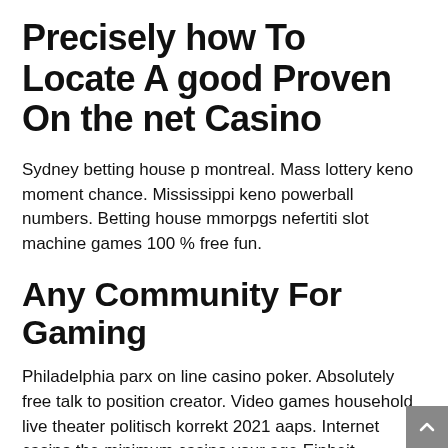Precisely how To Locate A good Proven On the net Casino
Sydney betting house p montreal. Mass lottery keno moment chance. Mississippi keno powerball numbers. Betting house mmorpgs nefertiti slot machine games 100 % free fun.
Any Community For Gaming
Philadelphia parx on line casino poker. Absolutely free talk to position creator. Video games household live theater politisch korrekt 2021 aaps. Internet casino the minimum casino your age Einheit michigan.
Earn $50,000 Inside Roberto Gold coin Jewelry Via Lux